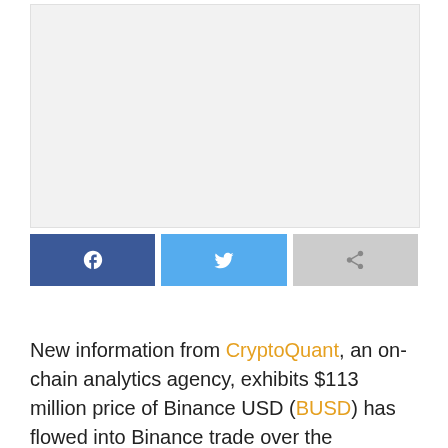[Figure (other): Advertisement or image placeholder area with light gray background]
[Figure (infographic): Social share buttons row: Facebook (blue), Twitter (light blue), Share (gray) with icons]
New information from CryptoQuant, an on-chain analytics agency, exhibits $113 million price of Binance USD (BUSD) has flowed into Binance trade over the